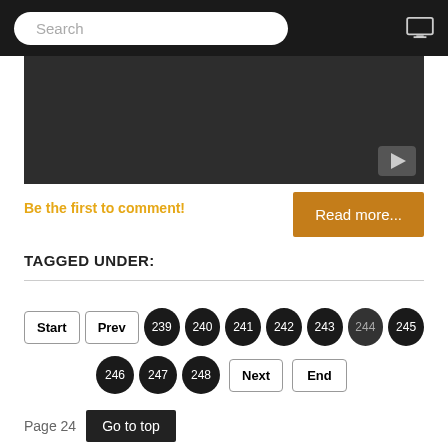Search
[Figure (screenshot): Dark video player area with YouTube play button in bottom-right corner]
Be the first to comment!
Read more...
TAGGED UNDER:
Pagination: Start | Prev | 239 240 241 242 243 244 245 | 246 247 248 | Next | End
Page 24  Go to top